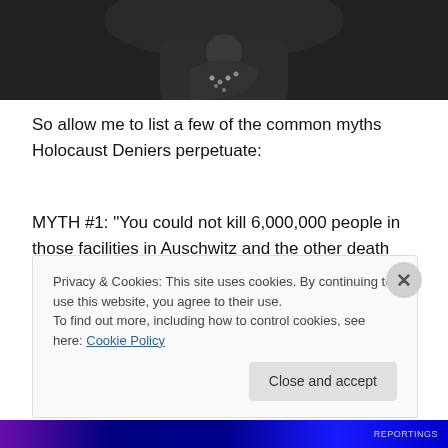[Figure (photo): Top portion of a photograph showing a person with a necklace, dark background, partially cropped]
So allow me to list a few of the common myths Holocaust Deniers perpetuate:
MYTH #1: “You could not kill 6,000,000 people in those facilities in Auschwitz and the other death camps! The 6 million figure would be almost impossible to achieve, it would had to have been a hell of a meatgrinder and a superhuman work to kill such an enormous amount of
Privacy & Cookies: This site uses cookies. By continuing to use this website, you agree to their use.
To find out more, including how to control cookies, see here: Cookie Policy
Close and accept